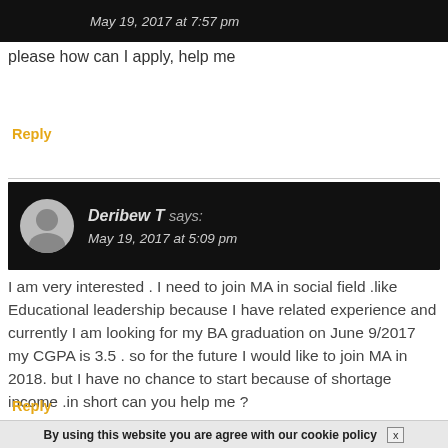May 19, 2017 at 7:57 pm
please how can I apply, help me
Reply
[Figure (other): Comment header block with avatar and author Deribew T, May 19, 2017 at 5:09 pm]
I am very interested . I need to join MA in social field .like Educational leadership because I have related experience and currently I am looking for my BA graduation on June 9/2017 my CGPA is 3.5 . so for the future I would like to join MA in 2018. but I have no chance to start because of shortage income .in short can you help me ?
Reply
By using this website you are agree with our cookie policy